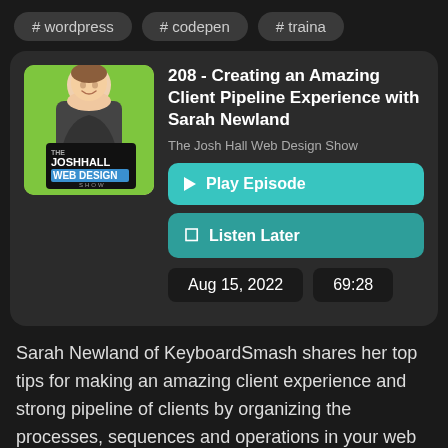# wordpress
# codepen
# traina
[Figure (photo): Podcast thumbnail for The Josh Hall Web Design Show — green background with person holding a sign]
208 - Creating an Amazing Client Pipeline Experience with Sarah Newland
The Josh Hall Web Design Show
▶ Play Episode
🔖 Listen Later
Aug 15, 2022
69:28
Sarah Newland of KeyboardSmash shares her top tips for making an amazing client experience and strong pipeline of clients by organizing the processes, sequences and operations in your web design